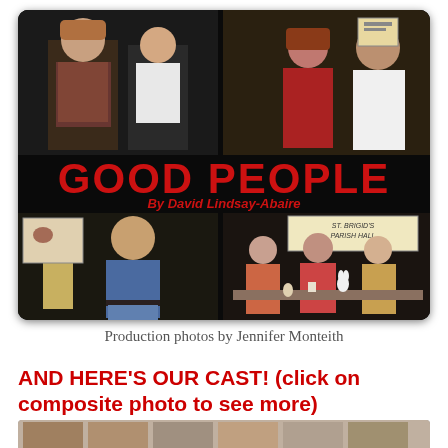[Figure (photo): Theater production photo collage for 'Good People' by David Lindsay-Abaire. Black background with four scene photos: top-left shows two actors in a store setting, top-right shows a man and woman in what appears to be an office, center has large red bold text 'GOOD PEOPLE' with red italic subtitle 'By David Lindsay-Abaire', bottom-left shows actors in a home setting, bottom-right shows three women seated at a table in St. Brigid's Parish Hall.]
Production photos by Jennifer Monteith
AND HERE'S OUR CAST! (click on composite photo to see more)
[Figure (photo): Bottom portion of a cast composite photo, partially visible at the bottom of the page.]